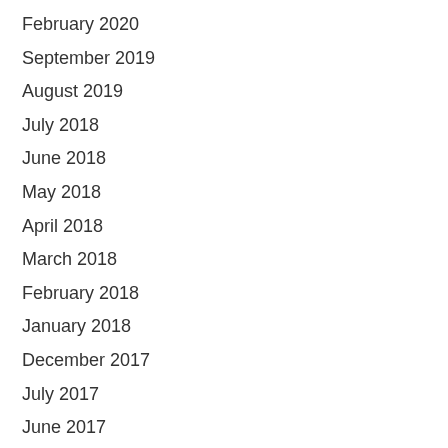February 2020
September 2019
August 2019
July 2018
June 2018
May 2018
April 2018
March 2018
February 2018
January 2018
December 2017
July 2017
June 2017